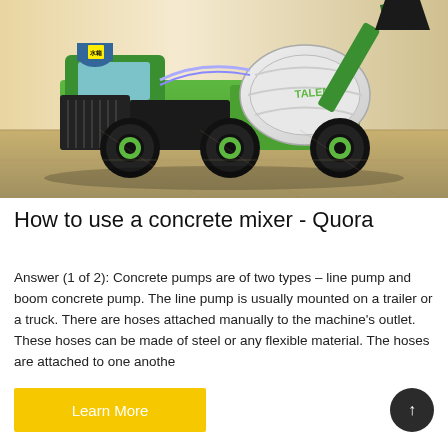[Figure (photo): Green Talenet self-loading concrete mixer truck on a warehouse floor background. The truck has large black tires with green rims, a cab on the left, and a white rotating drum on the right with a raised chute. The brand name TALENET is visible on the drum.]
How to use a concrete mixer - Quora
Answer (1 of 2): Concrete pumps are of two types – line pump and boom concrete pump. The line pump is usually mounted on a trailer or a truck. There are hoses attached manually to the machine's outlet. These hoses can be made of steel or any flexible material. The hoses are attached to one anothe
Learn More